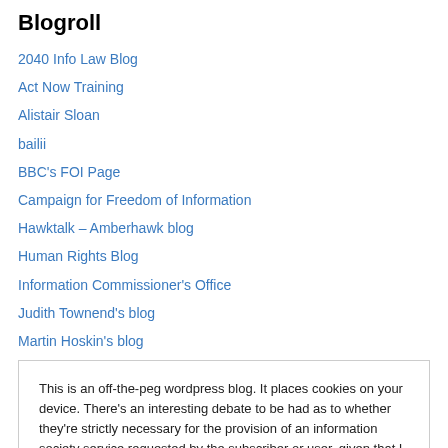Blogroll
2040 Info Law Blog
Act Now Training
Alistair Sloan
bailii
BBC's FOI Page
Campaign for Freedom of Information
Hawktalk – Amberhawk blog
Human Rights Blog
Information Commissioner's Office
Judith Townend's blog
Martin Hoskin's blog
This is an off-the-peg wordpress blog. It places cookies on your device. There's an interesting debate to be had as to whether they're strictly necessary for the provision of an information society service requested by the subscriber or user, given that I can't turn them off. Drop me a line if you want that debate - I'll probably agree with you. Here's the rub
ICO investigates collection of barristers' names